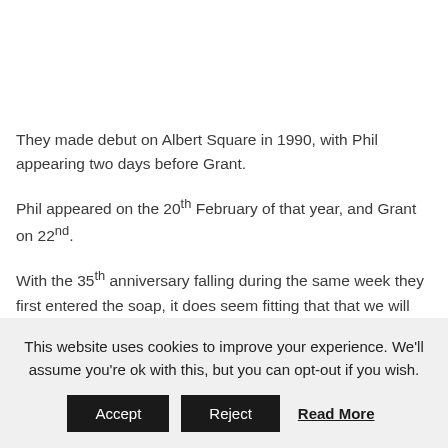They made debut on Albert Square in 1990, with Phil appearing two days before Grant.
Phil appeared on the 20th February of that year, and Grant on 22nd.
With the 35th anniversary falling during the same week they first entered the soap, it does seem fitting that that we will see
This website uses cookies to improve your experience. We'll assume you're ok with this, but you can opt-out if you wish.
Accept
Reject
Read More